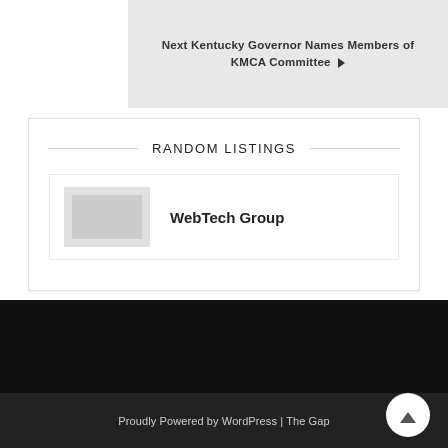Next Kentucky Governor Names Members of KMCA Committee ▶
RANDOM LISTINGS
WebTech Group
Proudly Powered by WordPress | The Gap